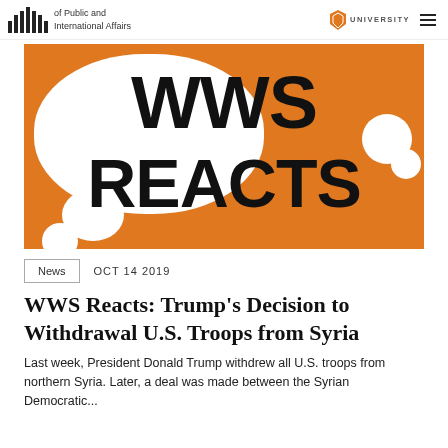of Public and International Affairs — UNIVERSITY
[Figure (illustration): WWS Reacts banner image with speech bubbles on orange background. Large bold text reads 'WWS REACTS'.]
News   OCT 14 2019
WWS Reacts: Trump's Decision to Withdrawal U.S. Troops from Syria
Last week, President Donald Trump withdrew all U.S. troops from northern Syria. Later, a deal was made between the Syrian Democratic...